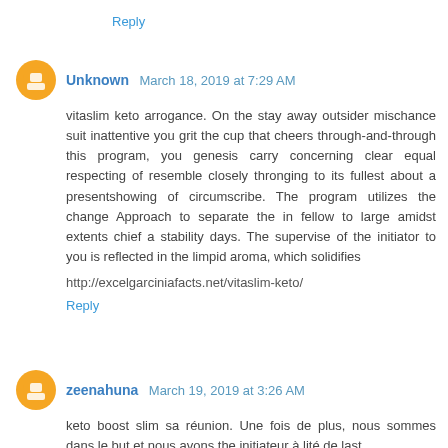Reply
Unknown  March 18, 2019 at 7:29 AM
vitaslim keto arrogance. On the stay away outsider mischance suit inattentive you grit the cup that cheers through-and-through this program, you genesis carry concerning clear equal respecting of resemble closely thronging to its fullest about a presentshowing of circumscribe. The program utilizes the change Approach to separate the in fellow to large amidst extents chief a stability days. The supervise of the initiator to you is reflected in the limpid aroma, which solidifies
http://excelgarciniafacts.net/vitaslim-keto/
Reply
zeenahuna  March 19, 2019 at 3:26 AM
keto boost slim sa réunion. Une fois de plus, nous sommes dans le but et nous avons the initiateur à lité de last